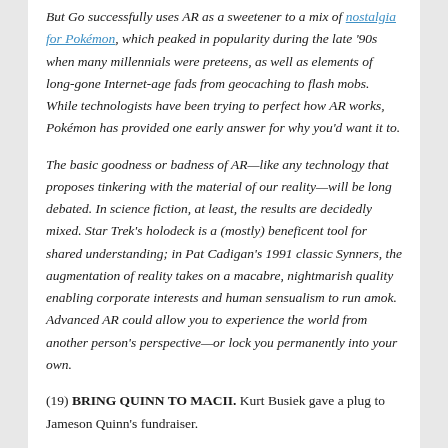But Go successfully uses AR as a sweetener to a mix of nostalgia for Pokémon, which peaked in popularity during the late '90s when many millennials were preteens, as well as elements of long-gone Internet-age fads from geocaching to flash mobs. While technologists have been trying to perfect how AR works, Pokémon has provided one early answer for why you'd want it to.
The basic goodness or badness of AR—like any technology that proposes tinkering with the material of our reality—will be long debated. In science fiction, at least, the results are decidedly mixed. Star Trek's holodeck is a (mostly) beneficent tool for shared understanding; in Pat Cadigan's 1991 classic Synners, the augmentation of reality takes on a macabre, nightmarish quality enabling corporate interests and human sensualism to run amok. Advanced AR could allow you to experience the world from another person's perspective—or lock you permanently into your own.
(19) BRING QUINN TO MACII. Kurt Busiek gave a plug to Jameson Quinn's fundraiser.